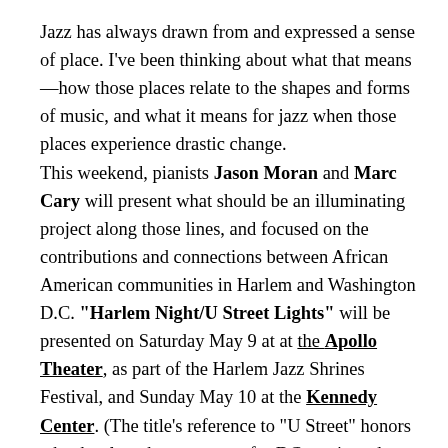Jazz has always drawn from and expressed a sense of place. I've been thinking about what that means—how those places relate to the shapes and forms of music, and what it means for jazz when those places experience drastic change. This weekend, pianists Jason Moran and Marc Cary will present what should be an illuminating project along those lines, and focused on the contributions and connections between African American communities in Harlem and Washington D.C. "Harlem Night/U Street Lights" will be presented on Saturday May 9 at at the Apollo Theater, as part of the Harlem Jazz Shrines Festival, and Sunday May 10 at the Kennedy Center. (The title's reference to "U Street" honors what has long been a center for DC music and culture.) Moran and Cary are both Harlem residents, and their lives and careers have also drawn them into Washington DC's